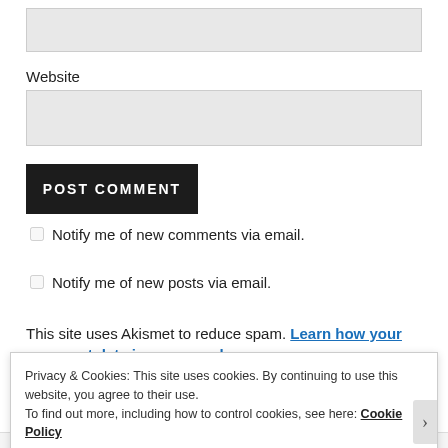[Figure (screenshot): A grey input text box at the top of the page]
Website
[Figure (screenshot): A grey input text box for website URL]
POST COMMENT
Notify me of new comments via email.
Notify me of new posts via email.
This site uses Akismet to reduce spam. Learn how your comment data is processed
Privacy & Cookies: This site uses cookies. By continuing to use this website, you agree to their use.
To find out more, including how to control cookies, see here: Cookie Policy
Close and accept
RECENT THREADS